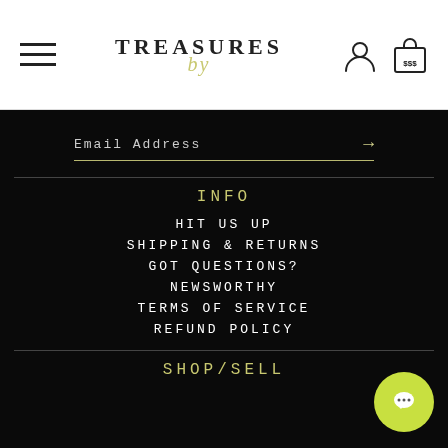Treasures — navigation header with hamburger menu, logo, user icon, and cart icon
Email Address →
INFO
HIT US UP
SHIPPING & RETURNS
GOT QUESTIONS?
NEWSWORTHY
TERMS OF SERVICE
REFUND POLICY
SHOP/SELL